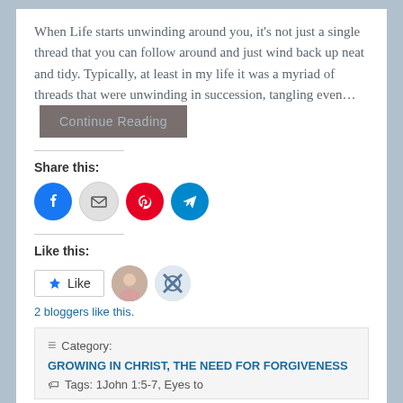When Life starts unwinding around you, it's not just a single thread that you can follow around and just wind back up neat and tidy.  Typically, at least in my life it was a myriad of threads that were unwinding in succession, tangling even… Continue Reading
Share this:
[Figure (infographic): Social share buttons: Facebook (blue circle), Email (grey circle), Pinterest (red circle), Telegram (blue circle)]
Like this:
[Figure (infographic): Like button with star icon, two blogger avatar thumbnails, text '2 bloggers like this.']
2 bloggers like this.
≡ Category: GROWING IN CHRIST, THE NEED FOR FORGIVENESS  Tags: 1John 1:5-7, Eyes to